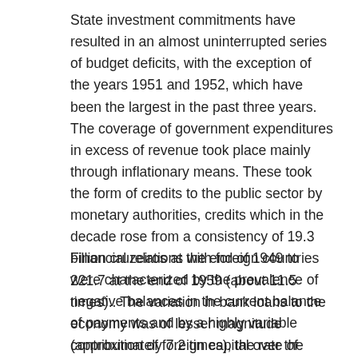State investment commitments have resulted in an almost uninterrupted series of budget deficits, with the exception of the years 1951 and 1952, which have been the largest in the past three years. The coverage of government expenditures in excess of revenue took place mainly through inflationary means. These took the form of credits to the public sector by monetary authorities, credits which in the decade rose from a consistency of 19.3 billion cruzeiros at the end of 1949 to 221.7 at the end of 1959 (about 11.5 times).. The variation in bank loans to the economy was of lesser magnitude (approximately 7.2 times), the rate of which has, however, intensified in recent years. From the offer point of view, the
Financial relations with foreign countries were characterized by the prevalence of negative balances in the current balance of payments and by a highly variable contribution of foreign capital over the years. If the economic development of Brazil has been favored by the